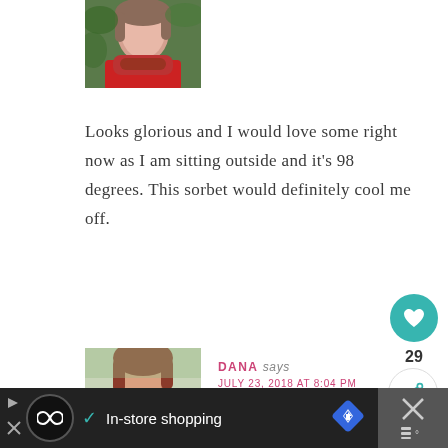[Figure (photo): Profile photo of a woman with red/pink scarf in outdoor setting]
Looks glorious and I would love some right now as I am sitting outside and it's 98 degrees. This sorbet would definitely cool me off.
Reply
[Figure (photo): Profile photo of Dana, woman with auburn/red hair]
DANA says
JULY 23, 2018 AT 8:04 PM
In-store shopping